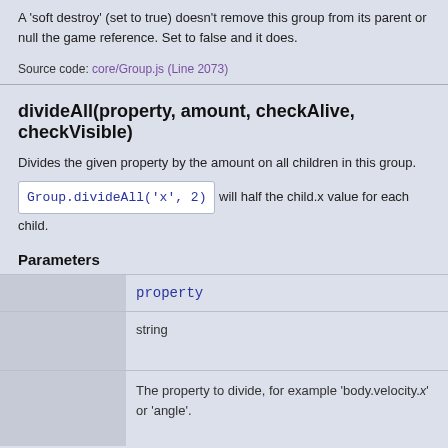A 'soft destroy' (set to true) doesn't remove this group from its parent or null the game reference. Set to false and it does.
Source code: core/Group.js (Line 2073)
divideAll(property, amount, checkAlive, checkVisible)
Divides the given property by the amount on all children in this group. Group.divideAll('x', 2) will half the child.x value for each child.
Parameters
|  |  |
| --- | --- |
|  | property |
|  | string |
|  | The property to divide, for example 'body.velocity.x' or 'angle'. |